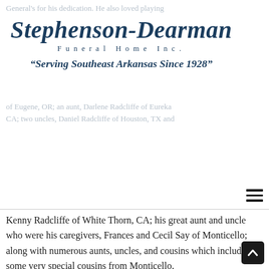Stephenson-Dearman Funeral Home Inc. "Serving Southeast Arkansas Since 1928"
Kenny Radcliffe of White Thorn, CA; his great aunt and uncle who were his caregivers, Frances and Cecil Say of Monticello; along with numerous aunts, uncles, and cousins which included some very special cousins from Monticello. Funeral services will be 1:00 p.m. Tuesday, June 14, 2022, at Prairie Grove Baptist Church with Rev. Paul Halley officiating. Burial will be in Lone Sassafras Cemetery. Pallbearers will be Cecil Say, Jr., Pete Say, Bryan Say, Brett Say, Kyle Trantham and Ty Say. Y can sign Gene's guestbook page at